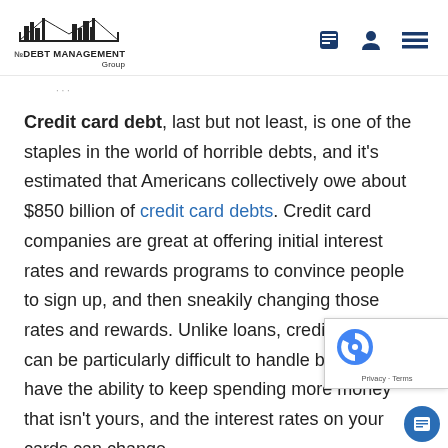The Debt Management Group - logo and navigation
Credit card debt, last but not least, is one of the staples in the world of horrible debts, and it's estimated that Americans collectively owe about $850 billion of credit card debts. Credit card companies are great at offering initial interest rates and rewards programs to convince people to sign up, and then sneakily changing those rates and rewards. Unlike loans, credit card debt can be particularly difficult to handle because you have the ability to keep spending more money that isn't yours, and the interest rates on your cards can change